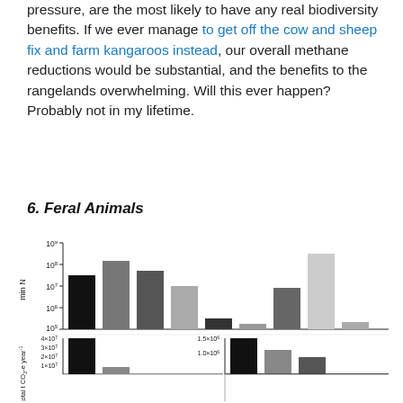pressure, are the most likely to have any real biodiversity benefits. If we ever manage to get off the cow and sheep fix and farm kangaroos instead, our overall methane reductions would be substantial, and the benefits to the rangelands overwhelming. Will this ever happen? Probably not in my lifetime.
6. Feral Animals
[Figure (bar-chart): Top panel: logarithmic bar chart (y-axis: min N, 10^5 to 10^9) showing population estimates for multiple feral animal species in varying shades from black to light grey. Bottom panel: two sub-charts showing total t CO2-e year^-1 on linear scales (4x10^7 and 1.5x10^6) with bars for different species.]